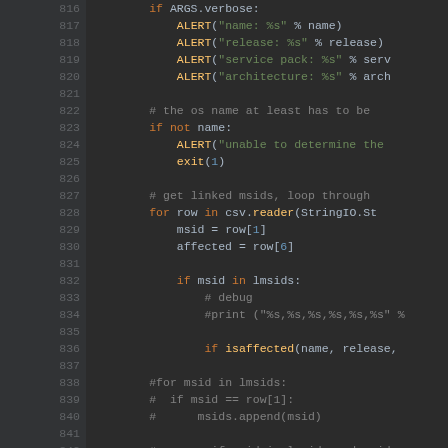[Figure (screenshot): Code editor screenshot showing Python source code lines 816-845 with syntax highlighting on dark background. Keywords in orange, function names in yellow, comments in gray, numbers/indices in blue.]